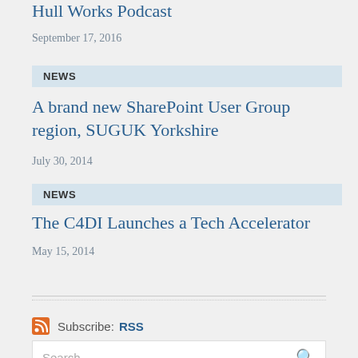Hull Works Podcast
September 17, 2016
NEWS
A brand new SharePoint User Group region, SUGUK Yorkshire
July 30, 2014
NEWS
The C4DI Launches a Tech Accelerator
May 15, 2014
Subscribe: RSS
Search...